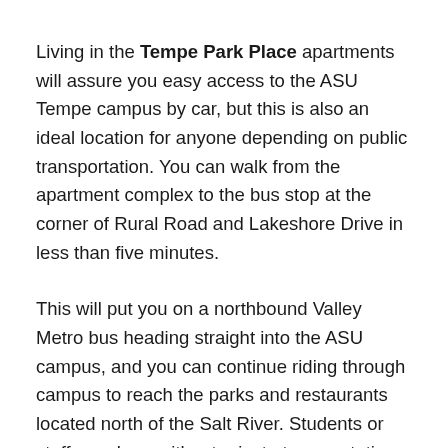Living in the Tempe Park Place apartments will assure you easy access to the ASU Tempe campus by car, but this is also an ideal location for anyone depending on public transportation. You can walk from the apartment complex to the bus stop at the corner of Rural Road and Lakeshore Drive in less than five minutes.
This will put you on a northbound Valley Metro bus heading straight into the ASU campus, and you can continue riding through campus to reach the parks and restaurants located north of the Salt River. Students or staff members without private transportation can use